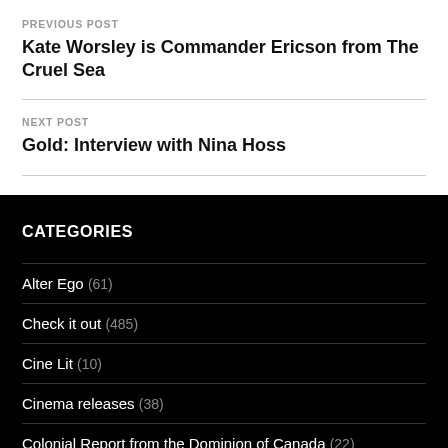PREVIOUS POST
Kate Worsley is Commander Ericson from The Cruel Sea
NEXT POST
Gold: Interview with Nina Hoss
CATEGORIES
Alter Ego (61)
Check it out (485)
Cine Lit (10)
Cinema releases (38)
Colonial Report from the Dominion of Canada (22)